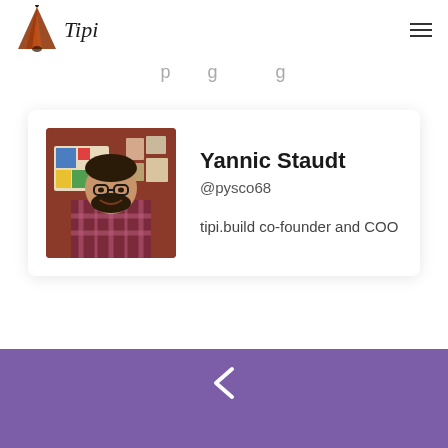[Figure (logo): Tipi logo: a stylized tent/tipi icon in dark red/orange with the word 'Tipi' in italic serif font]
p g g
[Figure (photo): Profile photo of Yannic Staudt, a man with glasses and a beard wearing a plaid shirt, standing in a room with artwork on the walls]
Yannic Staudt
@pysco68
tipi.build co-founder and COO
[Figure (illustration): Purple footer banner with a white left-pointing chevron/arrow icon]